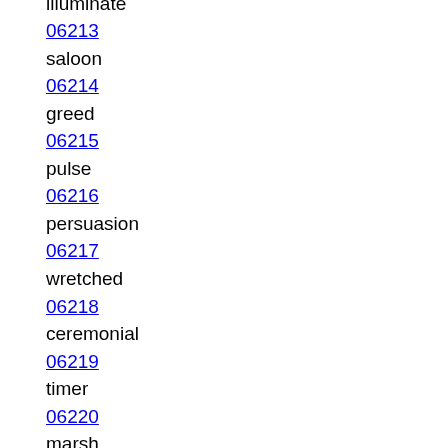06212
illuminate
06213
saloon
06214
greed
06215
pulse
06216
persuasion
06217
wretched
06218
ceremonial
06219
timer
06220
marsh
06221
itch
06222
withstand